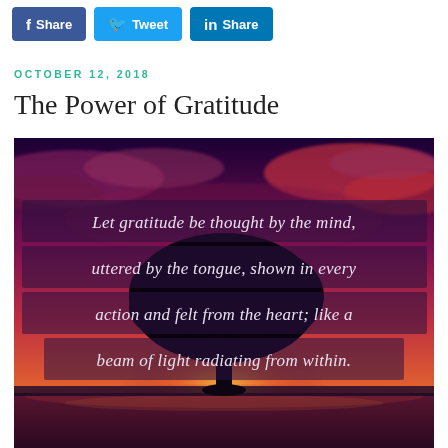[Figure (other): Social media sharing buttons: Facebook Share, Twitter Tweet, LinkedIn Share]
OCTOBER 12, 2018
The Power of Gratitude
[Figure (illustration): Inspirational image showing a silhouette of a tree at sunset with glowing light behind it, overlaid with quote text: 'Let gratitude be thought by the mind, uttered by the tongue, shown in every action and felt from the heart; like a beam of light radiating from within.']